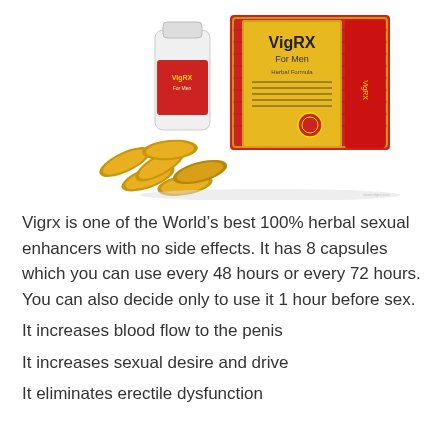[Figure (photo): Product photo of VigRX For Men supplement showing a red and gold box labeled 'VigRX For Men', a white plastic bottle with label, and several gold/yellow capsules scattered in front.]
Vigrx is one of the World’s best 100% herbal sexual enhancers with no side effects. It has 8 capsules which you can use every 48 hours or every 72 hours. You can also decide only to use it 1 hour before sex.
It increases blood flow to the penis
It increases sexual desire and drive
It eliminates erectile dysfunction